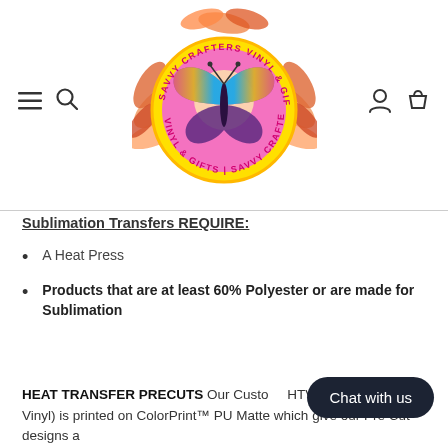[Figure (logo): Savvy Crafters Vinyl & Gifts circular logo with colorful butterfly, autumn leaves decoration, yellow and pink circular text border]
Sublimation Transfers REQUIRE:
A Heat Press
Products that are at least 60% Polyester or are made for Sublimation
HEAT TRANSFER PRECUTS Our Custom HTV (Heat Transfer Vinyl) is printed on ColorPrint™ PU Matte which give our Pre Cut designs a